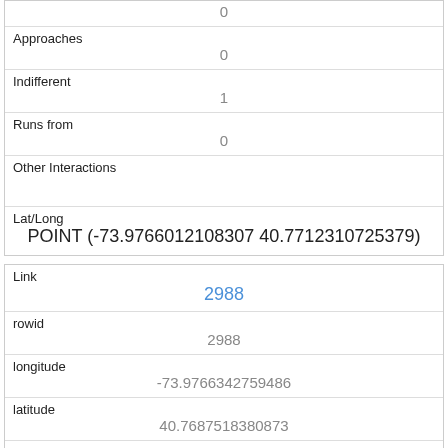| (truncated top) | 0 |
| Approaches | 0 |
| Indifferent | 1 |
| Runs from | 0 |
| Other Interactions |  |
| Lat/Long | POINT (-73.9766012108307 40.7712310725379) |
| Link | 2988 |
| rowid | 2988 |
| longitude | -73.9766342759486 |
| latitude | 40.7687518380873 |
| Unique Squirrel ID |  |